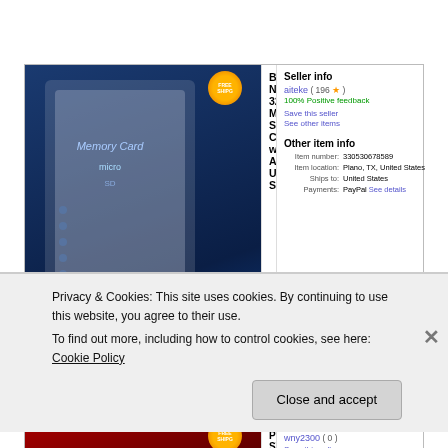[Figure (screenshot): eBay listing screenshot: BRAND NEW 32GB Micro SD Card with Adapter USA SOLD/SHIP. Shows product image, bidding interface with current bid US $0.99, seller info panel, and other item info.]
wny2300 – Australia
[Figure (screenshot): eBay listing screenshot: 128GB™USB™FLASH™DRIVE™2.0 PEN STICK™MEMORY™. Shows Kingston 128GB DataTraveler 200 product image, item condition New, time left 29d 13h, quantity field.]
Privacy & Cookies: This site uses cookies. By continuing to use this website, you agree to their use.
To find out more, including how to control cookies, see here: Cookie Policy
Close and accept